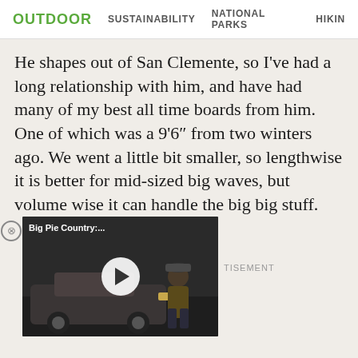OUTDOOR  SUSTAINABILITY  NATIONAL PARKS  HIKING
He shapes out of San Clemente, so I've had a long relationship with him, and have had many of my best all time boards from him. One of which was a 9'6" from two winters ago. We went a little bit smaller, so lengthwise it is better for mid-sized big waves, but volume wise it can handle the big big stuff.
[Figure (screenshot): Video thumbnail showing a man sitting on a classic car, with text 'Big Pie Country:...' and a play button overlay. Partially overlapping text with a close (X) button in the corner. Adjacent text reads 'TISEMENT' (partial word 'ADVERTISEMENT').]